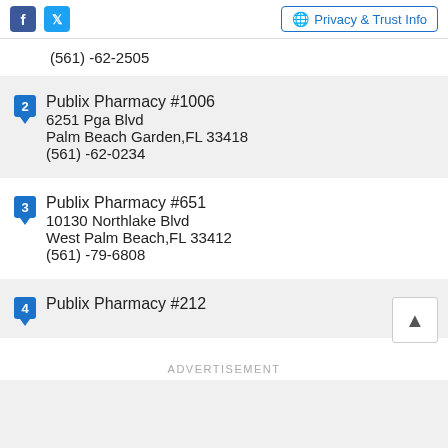Facebook Twitter | Privacy & Trust Info
(561) -62-2505
2 Publix Pharmacy #1006
6251 Pga Blvd
Palm Beach Garden,FL 33418
(561) -62-0234
3 Publix Pharmacy #651
10130 Northlake Blvd
West Palm Beach,FL 33412
(561) -79-6808
4 Publix Pharmacy #212
ADVERTISEMENT